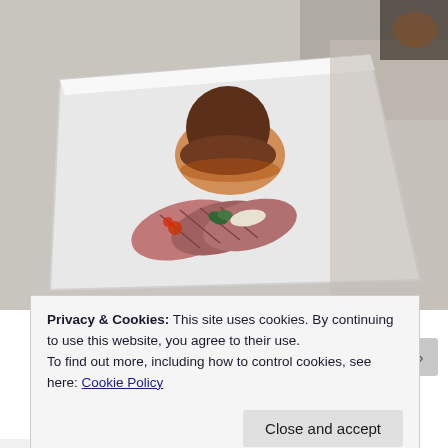[Figure (photo): Food plating photo: sliced seared tuna or meat on a white rectangular plate with a dark brown sauce/mole topping and garnishes including green herb and red pepper, set on a light marble/granite surface]
Privacy & Cookies: This site uses cookies. By continuing to use this website, you agree to their use.
To find out more, including how to control cookies, see here: Cookie Policy
Close and accept